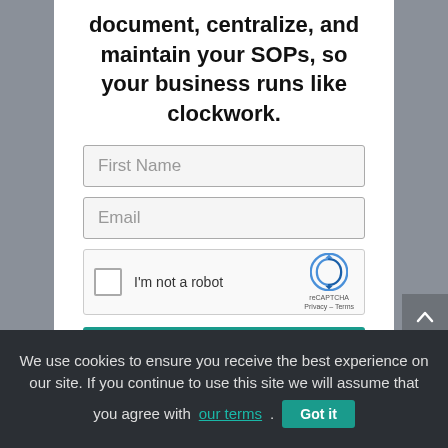document, centralize, and maintain your SOPs, so your business runs like clockwork.
First Name
Email
[Figure (other): reCAPTCHA widget with checkbox labeled 'I'm not a robot', reCAPTCHA logo, Privacy and Terms links]
DOWNLOAD IT NOW
We use cookies to ensure you receive the best experience on our site. If you continue to use this site we will assume that you agree with our terms. Got it